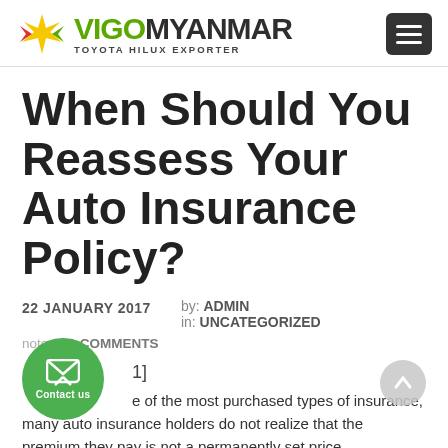VIGOMYANMAR TOYOTA HILUX EXPORTER
When Should You Reassess Your Auto Insurance Policy?
22 JANUARY 2017   by: ADMIN   in: UNCATEGORIZED   note: NO COMMENTS
[1]
...e of the most purchased types of insurance, many auto insurance holders do not realize that the premium they pay is not a permanently set price...